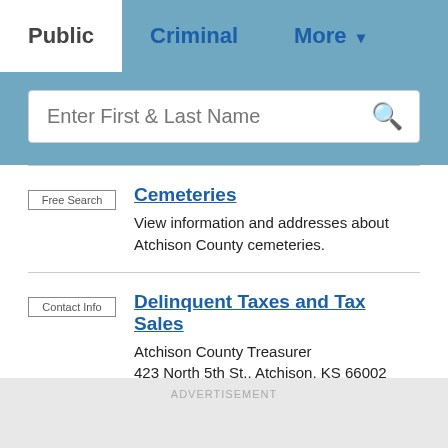Public | Criminal | More
[Figure (screenshot): Search bar with placeholder text 'Enter First & Last Name' and a magnifying glass icon]
Free Search | Cemeteries — View information and addresses about Atchison County cemeteries.
Contact Info | Delinquent Taxes and Tax Sales — Atchison County Treasurer, 423 North 5th St., Atchison, KS 66002, Phone (913)804-6050 Fax (913)367-3187
ADVERTISEMENT